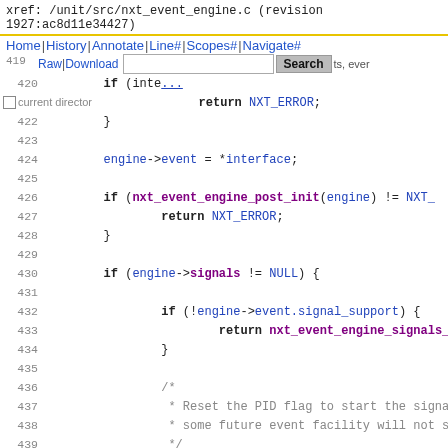xref: /unit/src/nxt_event_engine.c (revision 1927:ac8d11e34427)
Home | History | Annotate | Line# | Scopes# | Navigate#
Raw | Download  [Search]  Search  current directory
[Figure (screenshot): Source code viewer showing lines 419-444 of nxt_event_engine.c with syntax highlighting. Code includes if statements, return statements with NXT_ERROR and NXT_OK, engine->event and engine->signals assignments, nxt_event_engine_post_init and nxt_event_engine_signals_start function calls, and a comment about resetting PID flag.]